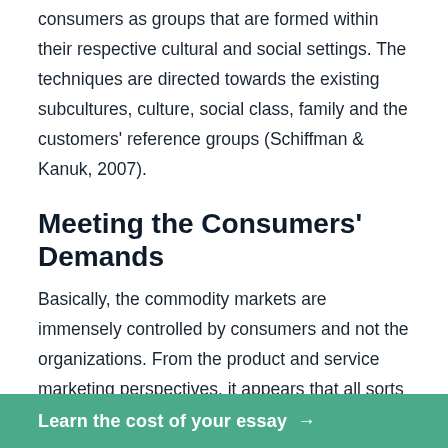consumers as groups that are formed within their respective cultural and social settings. The techniques are directed towards the existing subcultures, culture, social class, family and the customers' reference groups (Schiffman & Kanuk, 2007).
Meeting the Consumers' Demands
Basically, the commodity markets are immensely controlled by consumers and not the organizations. From the product and service marketing perspectives, it appears that all sorts of marketers yearn to lure and drive consumers to purchase their organizations products. For example, rather than deciding what to offer in the markets, marketers are forced to study the markets in order to be familiarize themselves with services and products that are
Learn the cost of your essay →